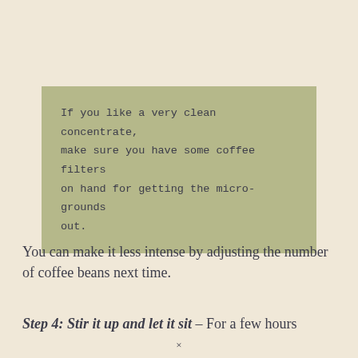If you like a very clean concentrate, make sure you have some coffee filters on hand for getting the micro-grounds out.
You can make it less intense by adjusting the number of coffee beans next time.
Step 4: Stir it up and let it sit – For a few hours